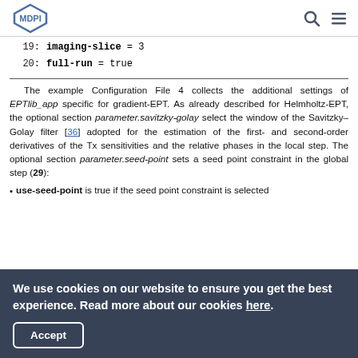MDPI logo with search and menu icons
19:   imaging-slice = 3
20:   full-run = true
The example Configuration File 4 collects the additional settings of EPTlib_app specific for gradient-EPT. As already described for Helmholtz-EPT, the optional section parameter.savitzky-golay select the window of the Savitzky–Golay filter [36] adopted for the estimation of the first- and second-order derivatives of the Tx sensitivities and the relative phases in the local step. The optional section parameter.seed-point sets a seed point constraint in the global step (29):
use-seed-point is true if the seed point constraint is selected
We use cookies on our website to ensure you get the best experience. Read more about our cookies here.